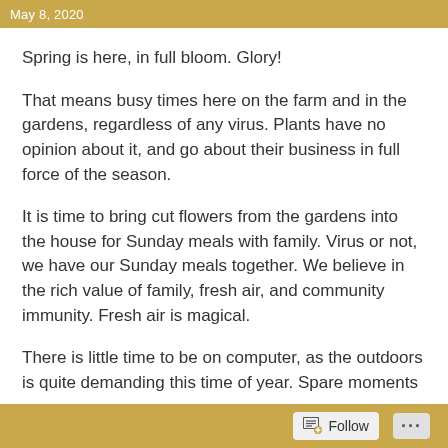May 8, 2020
Spring is here, in full bloom. Glory!
That means busy times here on the farm and in the gardens, regardless of any virus. Plants have no opinion about it, and go about their business in full force of the season.
It is time to bring cut flowers from the gardens into the house for Sunday meals with family. Virus or not, we have our Sunday meals together. We believe in the rich value of family, fresh air, and community immunity. Fresh air is magical.
There is little time to be on computer, as the outdoors is quite demanding this time of year. Spare moments
Follow ...